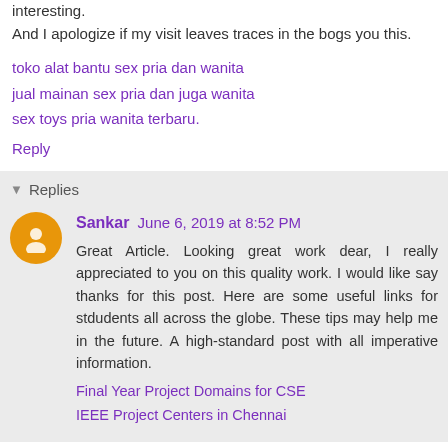interesting. And I apologize if my visit leaves traces in the bogs you this.
toko alat bantu sex pria dan wanita
jual mainan sex pria dan juga wanita
sex toys pria wanita terbaru.
Reply
Replies
Sankar  June 6, 2019 at 8:52 PM
Great Article. Looking great work dear, I really appreciated to you on this quality work. I would like say thanks for this post. Here are some useful links for stdudents all across the globe. These tips may help me in the future. A high-standard post with all imperative information.
Final Year Project Domains for CSE
IEEE Project Centers in Chennai